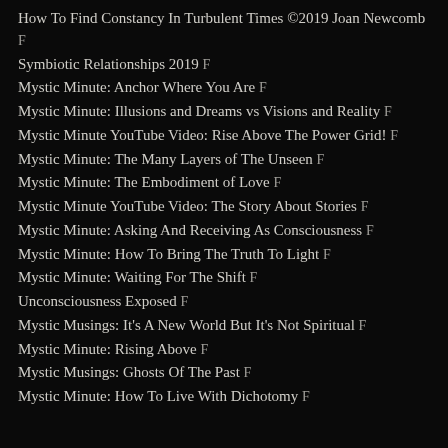How To Find Constancy In Turbulent Times ©2019 Joan Newcomb F
Symbiotic Relationships 2019 F
Mystic Minute: Anchor Where You Are F
Mystic Minute: Illusions and Dreams vs Visions and Reality F
Mystic Minute YouTube Video: Rise Above The Power Grid! F
Mystic Minute: The Many Layers of The Unseen F
Mystic Minute: The Embodiment of Love F
Mystic Minute YouTube Video: The Story About Stories F
Mystic Minute: Asking And Receiving As Consciousness F
Mystic Minute: How To Bring The Truth To Light F
Mystic Minute: Waiting For The Shift F
Unconsciousness Exposed F
Mystic Musings: It's A New World But It's Not Spiritual F
Mystic Minute: Rising Above F
Mystic Musings: Ghosts Of The Past F
Mystic Minute: How To Live With Dichotomy F